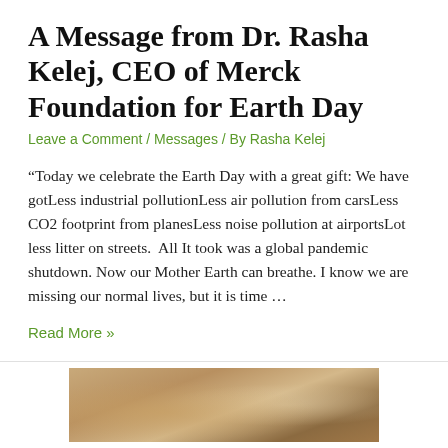A Message from Dr. Rasha Kelej, CEO of Merck Foundation for Earth Day
Leave a Comment / Messages / By Rasha Kelej
“Today we celebrate the Earth Day with a great gift: We have gotLess industrial pollutionLess air pollution from carsLess CO2 footprint from planesLess noise pollution at airportsLot less litter on streets.  All It took was a global pandemic shutdown. Now our Mother Earth can breathe. I know we are missing our normal lives, but it is time …
Read More »
[Figure (photo): Photo of two people in an indoor corridor with warm lighting and arched windows]